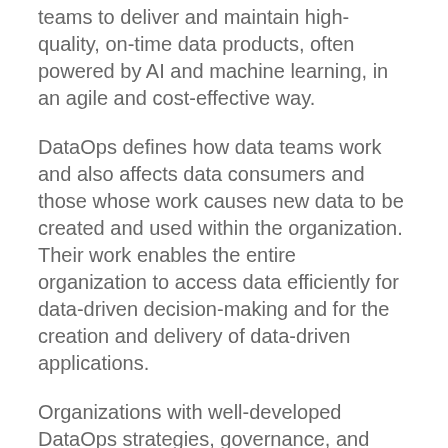teams to deliver and maintain high-quality, on-time data products, often powered by AI and machine learning, in an agile and cost-effective way.
DataOps defines how data teams work and also affects data consumers and those whose work causes new data to be created and used within the organization. Their work enables the entire organization to access data efficiently for data-driven decision-making and for the creation and delivery of data-driven applications.
Organizations with well-developed DataOps strategies, governance, and processes can expedite the delivery of data-driven workflows and results faster and better than others.
Who comes to DataOps Unleashed?
DataOps professionals and experts including data